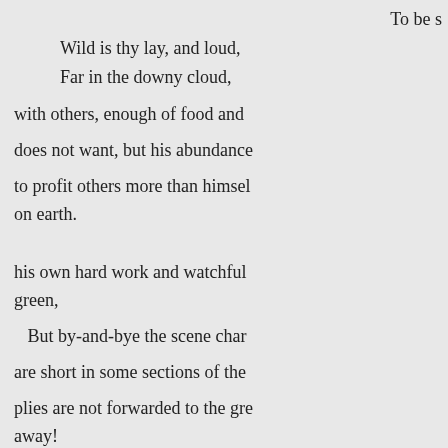To be s
Wild is thy lay, and loud,
Far in the downy cloud,
with others, enough of food and
does not want, but his abundance
to profit others more than himsel on earth.
his own hard work and watchful green,
But by-and-bye the scene char
are short in some sections of the
plies are not forwarded to the gre away!
for the adequate supply of the ink
cities themselves, or to meet the
merce. Business is deranged, me happiness;
country traders are discouraged,